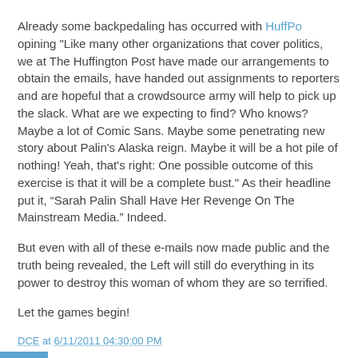Already some backpedaling has occurred with HuffPo opining "Like many other organizations that cover politics, we at The Huffington Post have made our arrangements to obtain the emails, have handed out assignments to reporters and are hopeful that a crowdsource army will help to pick up the slack. What are we expecting to find? Who knows? Maybe a lot of Comic Sans. Maybe some penetrating new story about Palin's Alaska reign. Maybe it will be a hot pile of nothing! Yeah, that's right: One possible outcome of this exercise is that it will be a complete bust." As their headline put it, “Sarah Palin Shall Have Her Revenge On The Mainstream Media.” Indeed.
But even with all of these e-mails now made public and the truth being revealed, the Left will still do everything in its power to destroy this woman of whom they are so terrified.
Let the games begin!
DCE at 6/11/2011 04:30:00 PM